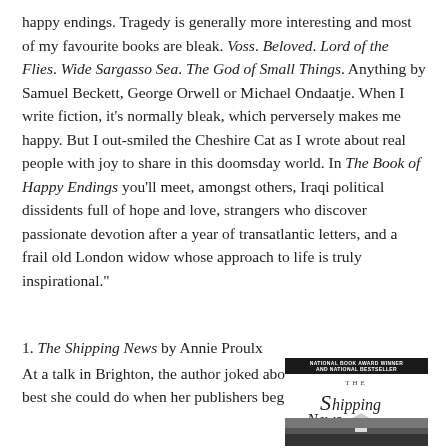happy endings. Tragedy is generally more interesting and most of my favourite books are bleak. Voss. Beloved. Lord of the Flies. Wide Sargasso Sea. The God of Small Things. Anything by Samuel Beckett, George Orwell or Michael Ondaatje. When I write fiction, it's normally bleak, which perversely makes me happy. But I out-smiled the Cheshire Cat as I wrote about real people with joy to share in this doomsday world. In The Book of Happy Endings you'll meet, amongst others, Iraqi political dissidents full of hope and love, strangers who discover passionate devotion after a year of transatlantic letters, and a frail old London widow whose approach to life is truly inspirational."
1. The Shipping News by Annie Proulx
At a talk in Brighton, the author joked about this book as the best she could do when her publishers begged her for something
[Figure (illustration): Book cover of The Shipping News by Annie Proulx. Top band reads 'NATIONAL BOOK AWARD WINNER AND NATIONAL BESTSELLER'. Below is a stylized script title 'The Shipping News' with a house illustration in the lower portion.]